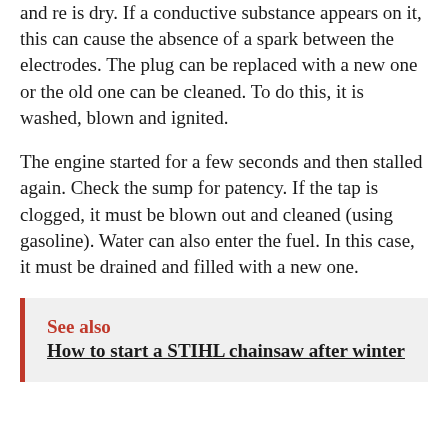and re is dry. If a conductive substance appears on it, this can cause the absence of a spark between the electrodes. The plug can be replaced with a new one or the old one can be cleaned. To do this, it is washed, blown and ignited.
The engine started for a few seconds and then stalled again. Check the sump for patency. If the tap is clogged, it must be blown out and cleaned (using gasoline). Water can also enter the fuel. In this case, it must be drained and filled with a new one.
See also  How to start a STIHL chainsaw after winter